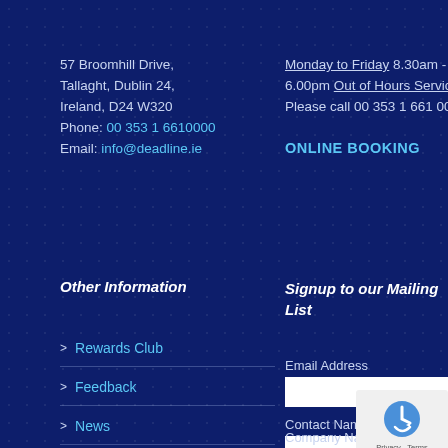57 Broomhill Drive, Tallaght, Dublin 24, Ireland, D24 W320
Phone: 00 353 1 6610000
Email: info@deadline.ie
Monday to Friday 8.30am - 6.00pm Out of Hours Service
Please call 00 353 1 661 0000
ONLINE BOOKING
Other Information
Signup to our Mailing List
Rewards Club
Feedback
News
Careers
Email Address
Contact Name
Company Name